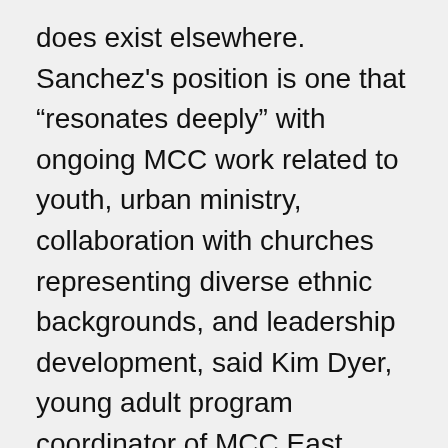does exist elsewhere. Sanchez's position is one that “resonates deeply” with ongoing MCC work related to youth, urban ministry, collaboration with churches representing diverse ethnic backgrounds, and leadership development, said Kim Dyer, young adult program coordinator of MCC East Coast. “We are excited to be able to respond to an initiative coming from the church in a local context that connects so deeply to MCC’s areas of focus.”
“This new collaboration is a creative way to build on both strengths and possibilities,” said Steve Kriss, director of leadership